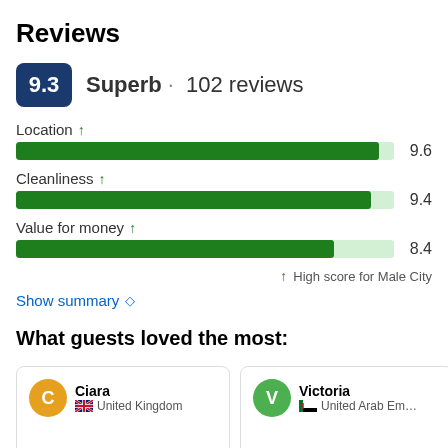Reviews
9.3 Superb · 102 reviews
Location ↑ 9.6
Cleanliness ↑ 9.4
Value for money ↑ 8.4
↑ High score for Male City
Show summary ◇
What guests loved the most:
Ciara, United Kingdom
Victoria, United Arab Emirates